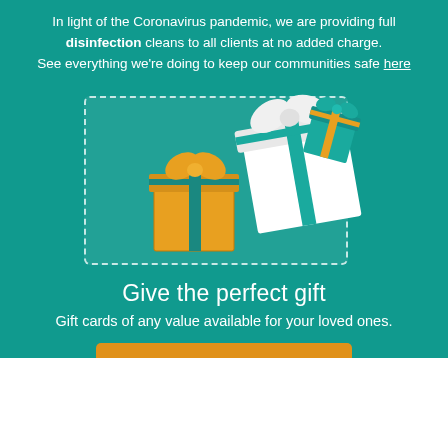In light of the Coronavirus pandemic, we are providing full disinfection cleans to all clients at no added charge. See everything we're doing to keep our communities safe here
[Figure (illustration): Illustration of gift boxes (yellow/gold and white) with ribbon and bow, displayed inside a dashed-border rectangle card on a teal background]
Give the perfect gift
Gift cards of any value available for your loved ones.
PURCHASE NOW